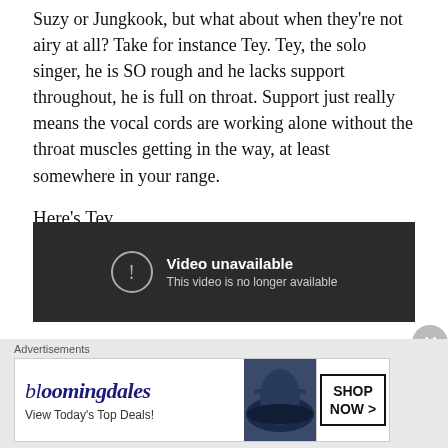Suzy or Jungkook, but what about when they're not airy at all? Take for instance Tey. Tey, the solo singer, he is SO rough and he lacks support throughout, he is full on throat. Support just really means the vocal cords are working alone without the throat muscles getting in the way, at least somewhere in your range.
Here's Tey
[Figure (other): Embedded video player showing 'Video unavailable – This video is no longer available']
Advertisements
[Figure (other): Bloomingdale's advertisement banner: 'bloomingdales – View Today's Top Deals!' with SHOP NOW > button]